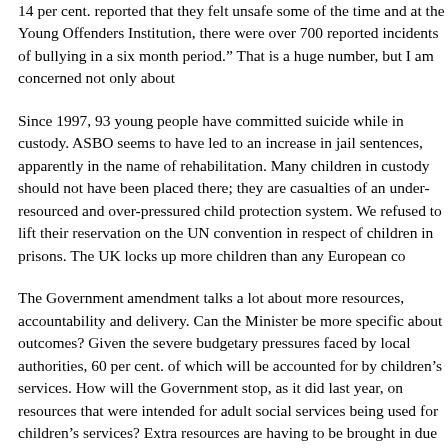14 per cent. reported that they felt unsafe some of the time and at the Young Offenders Institution, there were over 700 reported incidents of bullying in a six month period.” That is a huge number, but I am concerned not only about
Since 1997, 93 young people have committed suicide while in custody. ASBO seems to have led to an increase in jail sentences, apparently in the name of rehabilitation. Many children in custody should not have been placed there; they are casualties of an under-resourced and over-pressured child protection system. We refused to lift their reservation on the UN convention in respect of children in prisons. The UK locks up more children than any European co
The Government amendment talks a lot about more resources, accountability and delivery. Can the Minister be more specific about outcomes? Given the severe budgetary pressures faced by local authorities, 60 per cent. of which will be accounted for by children’s services. How will the Government stop, as it did last year, on resources that were intended for adult social services being used for children’s services? Extra resources are having to be brought in due to in
Last year, the Government published the Wanless report on health. In writing the report, it was recognised that health and social care were two sides of the coin. It recommended that further work should be carried out on social care. Can the House whether such work will be commissioned? As well as th